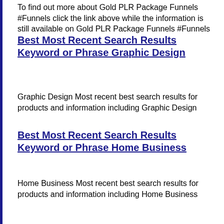To find out more about Gold PLR Package Funnels #Funnels click the link above while the information is still available on Gold PLR Package Funnels #Funnels
Best Most Recent Search Results Keyword or Phrase Graphic Design
Graphic Design Most recent best search results for products and information including Graphic Design
Best Most Recent Search Results Keyword or Phrase Home Business
Home Business Most recent best search results for products and information including Home Business
Home Hosting #Hosting How to and Systems to Make Money Online Working from Home from Affiliate Marketing to Forex Shared with You by MakeMoneyOnline4Beginners
To find out more about Home Hosting #Hosting click the